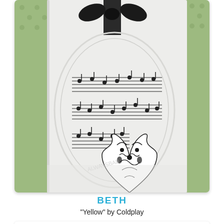[Figure (photo): Handmade white greeting card with embossed oval frame, stamped sheet music, and a black and white damask heart embellishment, tied with a black ribbon bow. Card is photographed on a green polka dot background.]
BETH
"Yellow" by Coldplay
[Figure (photo): Partial view of a handmade card featuring yellow patterned paper panels and a tulip flower design.]